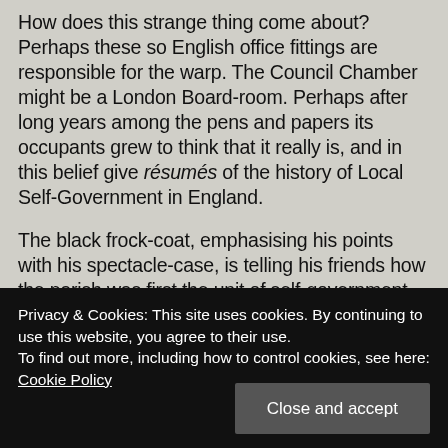How does this strange thing come about? Perhaps these so English office fittings are responsible for the warp. The Council Chamber might be a London Board-room. Perhaps after long years among the pens and papers its occupants grew to think that it really is, and in this belief give résumés of the history of Local Self-Government in England.
The black frock-coat, emphasising his points with his spectacle-case, is telling his friends how the parish was first the unit of self-government. He then explains
Privacy & Cookies: This site uses cookies. By continuing to use this website, you agree to their use.
To find out more, including how to control cookies, see here:
Cookie Policy
well-known 'cuttle-fish trick' of the West?